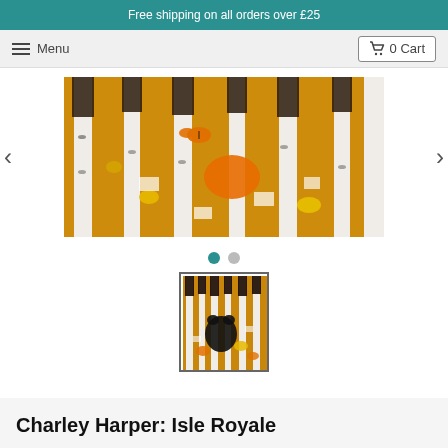Free shipping on all orders over £25
≡ Menu   🛒 0 Cart
[Figure (photo): Charley Harper Isle Royale quilt pattern image showing a stylized autumn forest scene with birch trees, orange foliage, and a monarch butterfly on a golden background — main carousel image]
[Figure (photo): Charley Harper Isle Royale quilt pattern thumbnail image showing a full quilt with birch trees and autumn colors including black cat silhouette]
Charley Harper: Isle Royale